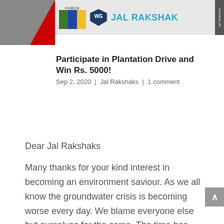[Figure (photo): Partial photo in top-left corner with red diagonal overlay, next to a Jal Rakshak logo banner with green, blue, yellow color blocks and a WG badge]
Participate in Plantation Drive and Win Rs. 5000!
Sep 2, 2020 | Jal Rakshaks | 1 comment
Dear Jal Rakshaks
Many thanks for your kind interest in becoming an environment saviour. As we all know the groundwater crisis is becoming worse every day. We blame everyone else but ourselves for the same. The time has come for each of us to take the initiative and start work